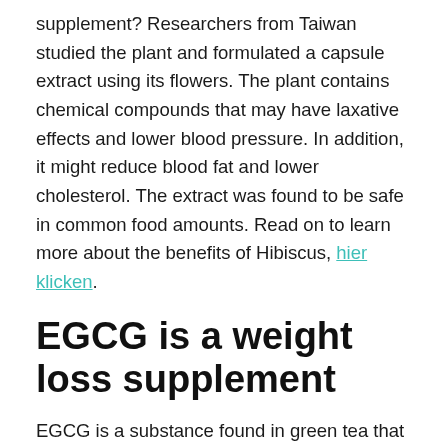supplement? Researchers from Taiwan studied the plant and formulated a capsule extract using its flowers. The plant contains chemical compounds that may have laxative effects and lower blood pressure. In addition, it might reduce blood fat and lower cholesterol. The extract was found to be safe in common food amounts. Read on to learn more about the benefits of Hibiscus, hier klicken.
EGCG is a weight loss supplement
EGCG is a substance found in green tea that has been studied for its ability to reduce body fat. The compound has many beneficial properties. It increases the rate at which your body burns fat. There are some studies that support these results, while others have mixed results. In a 12-week study of Chinese adults, EGCG supplementation